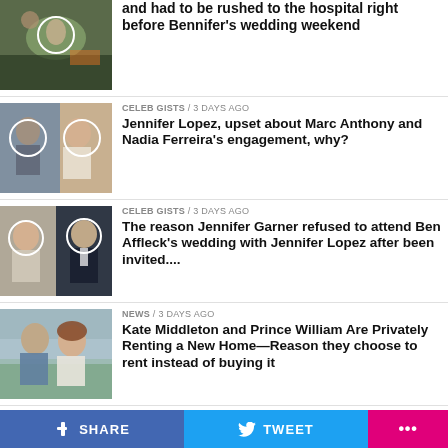and had to be rushed to the hospital right before Bennifer's wedding weekend
CELEB GISTS / 3 days ago
Jennifer Lopez, upset about Marc Anthony and Nadia Ferreira's engagement, why?
CELEB GISTS / 3 days ago
The reason Jennifer Garner refused to attend Ben Affleck's wedding with Jennifer Lopez after been invited....
NEWS / 3 days ago
Kate Middleton and Prince William Are Privately Renting a New Home—Reason they choose to rent instead of buying it
NBA & NFL / 3 days ago
Brittany Mahomes adorable Reaction To Patrick Mahomes' Performance Today
f SHARE   🐦 TWEET   ...